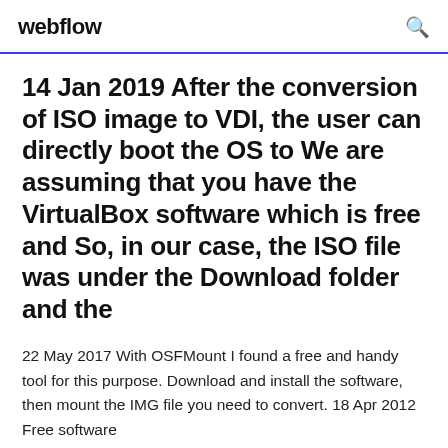webflow
14 Jan 2019 After the conversion of ISO image to VDI, the user can directly boot the OS to We are assuming that you have the VirtualBox software which is free and So, in our case, the ISO file was under the Download folder and the
22 May 2017 With OSFMount I found a free and handy tool for this purpose. Download and install the software, then mount the IMG file you need to convert. 18 Apr 2012 Free software